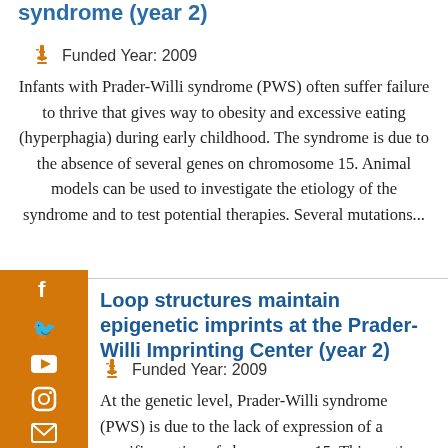syndrome (year 2)
Funded Year: 2009
Infants with Prader-Willi syndrome (PWS) often suffer failure to thrive that gives way to obesity and excessive eating (hyperphagia) during early childhood. The syndrome is due to the absence of several genes on chromosome 15. Animal models can be used to investigate the etiology of the syndrome and to test potential therapies. Several mutations...
Loop structures maintain epigenetic imprints at the Prader-Willi Imprinting Center (year 2)
Funded Year: 2009
At the genetic level, Prader-Willi syndrome (PWS) is due to the lack of expression of a specific portion of chromosome 15. This portion contains genes that, in